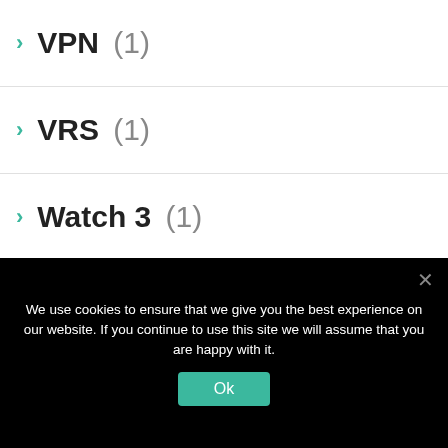VPN (1)
VRS (1)
Watch 3 (1)
Watch Faces (1)
Wear OS 3.0 (1)
Wearables (31)
Whatsapp (3)
We use cookies to ensure that we give you the best experience on our website. If you continue to use this site we will assume that you are happy with it.